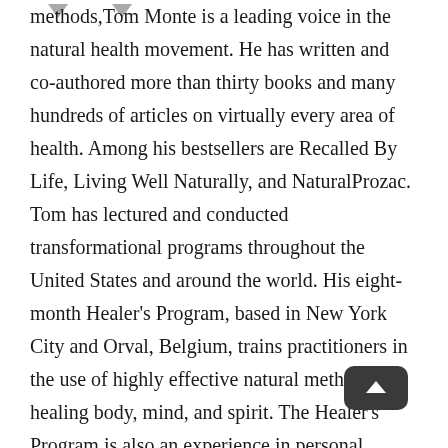methods, Tom Monte is a leading voice in the natural health movement. He has written and co-authored more than thirty books and many hundreds of articles on virtually every area of health. Among his bestsellers are Recalled By Life, Living Well Naturally, and NaturalProzac. Tom has lectured and conducted transformational programs throughout the United States and around the world. His eight-month Healer's Program, based in New York City and Orval, Belgium, trains practitioners in the use of highly effective natural methods for healing body, mind, and spirit. The Healer's Program is also an experience in personal transformation. Tom also conducts workshops that focus on healing the heart and personal relationships. He lives with his wife, Toby, in Amherst, Massachusetts,